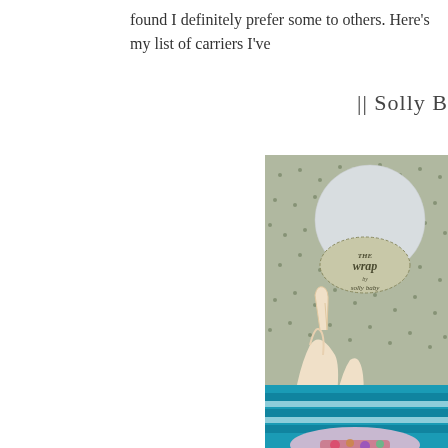found I definitely prefer some to others. Here's my list of carriers I've
|| Solly B
[Figure (photo): A hand holding a Solly Baby wrap product in its cardboard packaging. The packaging has a circular cutout showing the fabric inside, with 'THE wrap by solly baby' printed on a label. Below the package, a baby in a teal/blue striped outfit and a knitted lavender hat is visible along with a colorful floral headband.]